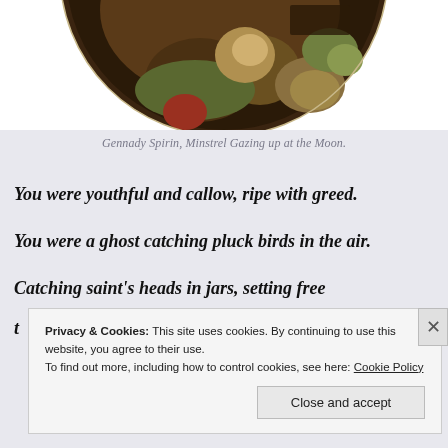[Figure (photo): Lower portion of a circular classical painting by Gennady Spirin showing figures with fruits and objects in dark, warm tones against a white background.]
Gennady Spirin, Minstrel Gazing up at the Moon.
You were youthful and callow, ripe with greed.
You were a ghost catching pluck birds in the air.
Catching saint's heads in jars, setting free
t
Privacy & Cookies: This site uses cookies. By continuing to use this website, you agree to their use.
To find out more, including how to control cookies, see here: Cookie Policy
Close and accept